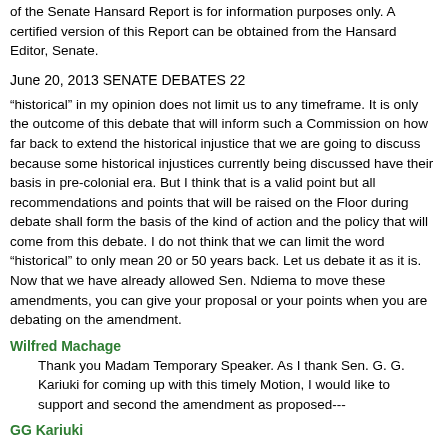of the Senate Hansard Report is for information purposes only. A certified version of this Report can be obtained from the Hansard Editor, Senate.
June 20, 2013 SENATE DEBATES 22
“historical” in my opinion does not limit us to any timeframe. It is only the outcome of this debate that will inform such a Commission on how far back to extend the historical injustice that we are going to discuss because some historical injustices currently being discussed have their basis in pre-colonial era. But I think that is a valid point but all recommendations and points that will be raised on the Floor during debate shall form the basis of the kind of action and the policy that will come from this debate. I do not think that we can limit the word “historical” to only mean 20 or 50 years back. Let us debate it as it is. Now that we have already allowed Sen. Ndiema to move these amendments, you can give your proposal or your points when you are debating on the amendment.
Wilfred Machage
Thank you Madam Temporary Speaker. As I thank Sen. G. G. Kariuki for coming up with this timely Motion, I would like to support and second the amendment as proposed---
GG Kariuki